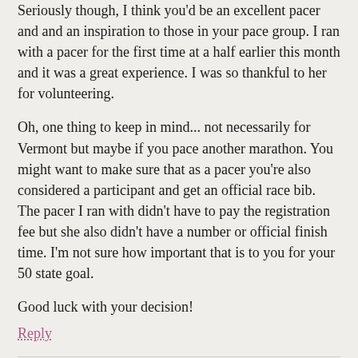Seriously though, I think you'd be an excellent pacer and and an inspiration to those in your pace group. I ran with a pacer for the first time at a half earlier this month and it was a great experience. I was so thankful to her for volunteering.
Oh, one thing to keep in mind... not necessarily for Vermont but maybe if you pace another marathon. You might want to make sure that as a pacer you're also considered a participant and get an official race bib. The pacer I ran with didn't have to pay the registration fee but she also didn't have a number or official finish time. I'm not sure how important that is to you for your 50 state goal.
Good luck with your decision!
Reply
Susan
April 28, 2009
I think it'd be really fun to be a pacer! I don't think it'd be a setback at all to run Vermont, and the ice cream at the end is enough to convince me to run it. It can be really hot in Madison during that time